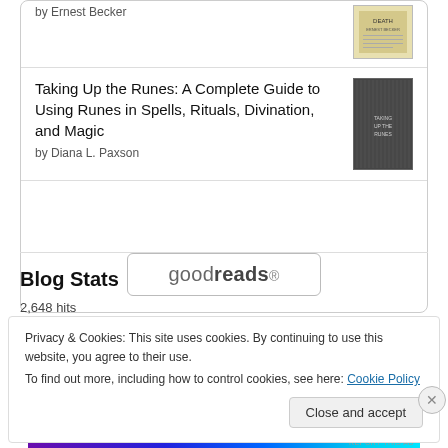by Ernest Becker
Taking Up the Runes: A Complete Guide to Using Runes in Spells, Rituals, Divination, and Magic
by Diana L. Paxson
[Figure (logo): Goodreads logo button with rounded border]
Blog Stats
2,648 hits
Privacy & Cookies: This site uses cookies. By continuing to use this website, you agree to their use.
To find out more, including how to control cookies, see here: Cookie Policy
Close and accept